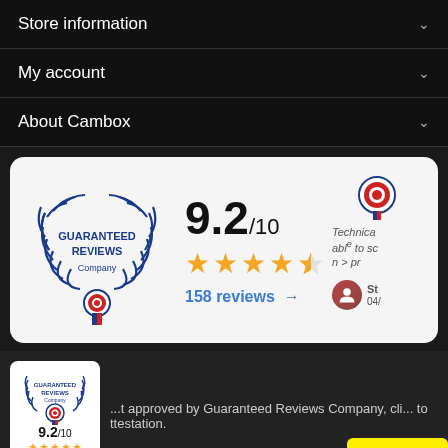Store information
My account
About Cambox
[Figure (infographic): Guaranteed Reviews Company widget showing 9.2/10 score with 4.5 stars and 158 reviews link]
...t approved by Guaranteed Reviews Company, cli... to ttestation.
Chat